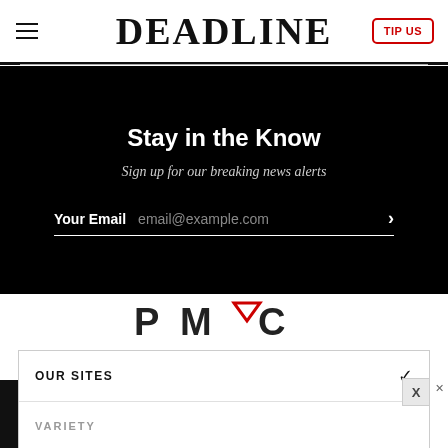DEADLINE
Stay in the Know
Sign up for our breaking news alerts
Your Email  email@example.com
[Figure (logo): PMC logo with stylized P, M with red chevron, and C in dark charcoal]
OUR SITES
VARIETY
[Figure (infographic): Advertisement banner with LISTEN NOW button and SCENE SEEN 2 logo]